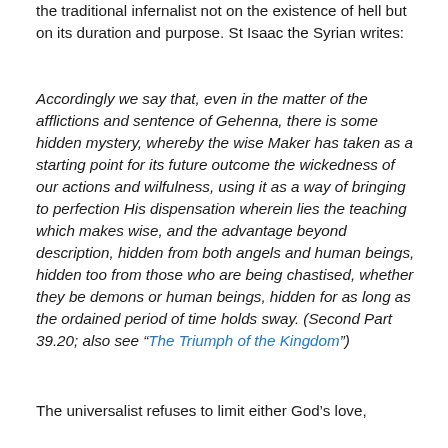the traditional infernalist not on the existence of hell but on its duration and purpose. St Isaac the Syrian writes:
Accordingly we say that, even in the matter of the afflictions and sentence of Gehenna, there is some hidden mystery, whereby the wise Maker has taken as a starting point for its future outcome the wickedness of our actions and wilfulness, using it as a way of bringing to perfection His dispensation wherein lies the teaching which makes wise, and the advantage beyond description, hidden from both angels and human beings, hidden too from those who are being chastised, whether they be demons or human beings, hidden for as long as the ordained period of time holds sway. (Second Part 39.20; also see “The Triumph of the Kingdom”)
The universalist refuses to limit either God’s love,